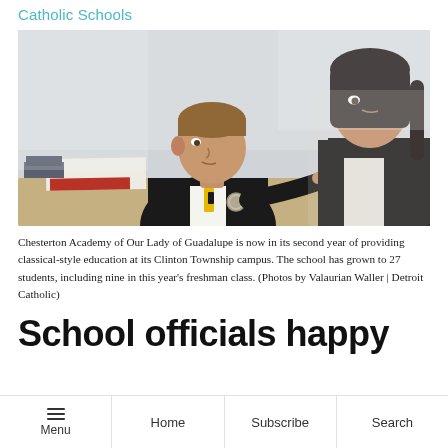Catholic Schools
[Figure (photo): Two students in Catholic school uniforms (dark vests) sitting at a desk. The male student in the foreground is reading an open book, wearing a gold and black striped tie with a school badge. A female student with dark hair is in the background.]
Chesterton Academy of Our Lady of Guadalupe is now in its second year of providing classical-style education at its Clinton Township campus. The school has grown to 27 students, including nine in this year’s freshman class. (Photos by Valaurian Waller | Detroit Catholic)
School officials happy
Menu | Home | Subscribe | Search